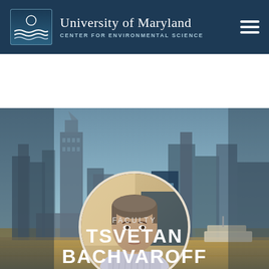University of Maryland Center for Environmental Science
[Figure (photo): Circular portrait photo of Tsvetan Bachvaroff against a Baltimore city skyline waterfront background]
FACULTY
TSVETAN BACHVAROFF